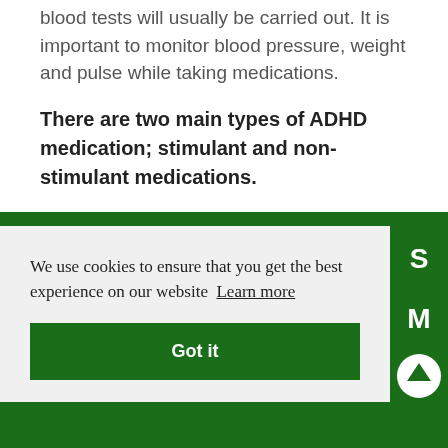blood tests will usually be carried out. It is important to monitor blood pressure, weight and pulse while taking medications.
There are two main types of ADHD medication; stimulant and non-stimulant medications.
We use cookies to ensure that you get the best experience on our website  Learn more
Got it